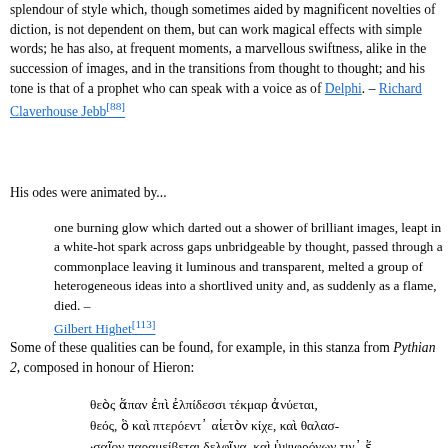splendour of style which, though sometimes aided by magnificent novelties of diction, is not dependent on them, but can work magical effects with simple words; he has also, at frequent moments, a marvellous swiftness, alike in the succession of images, and in the transitions from thought to thought; and his tone is that of a prophet who can speak with a voice as of Delphi. – Richard Claverhouse Jebb[88]
His odes were animated by...
one burning glow which darted out a shower of brilliant images, leapt in a white-hot spark across gaps unbridgeable by thought, passed through a commonplace leaving it luminous and transparent, melted a group of heterogeneous ideas into a shortlived unity and, as suddenly as a flame, died. – Gilbert Highet[113]
Some of these qualities can be found, for example, in this stanza from Pythian 2, composed in honour of Hieron:
θεὸς ἅπαν ἐπὶ ἐλπίδεσσι τέκμαρ ἀνύεται, θεός, ὃ καὶ πτερόεντ᾽ αἰετὸν κίχε, καὶ θαλας- :σαῖον παραμείβεται δελφῖνα, καὶ ὑψιφρόνων τιν᾽ ἔ